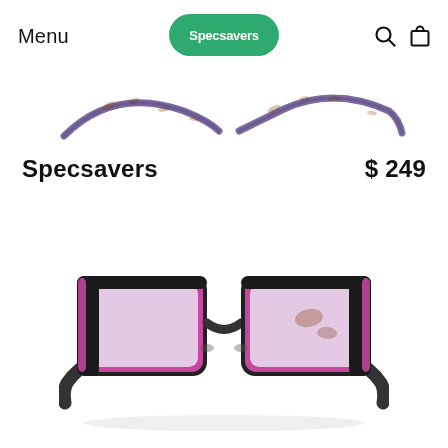Menu | Specsavers (logo) | Search | Bag
[Figure (photo): Two pairs of glasses frames shown from above (top/temple view), side by side, with purple/blue tortoiseshell pattern]
Specsavers    $ 249
[Figure (photo): Black rectangular eyeglasses frame with pink/purple inner rim accent, shown from front at a slight angle on white background]